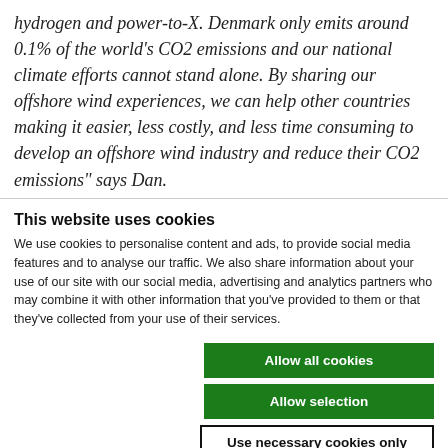hydrogen and power-to-X. Denmark only emits around 0.1% of the world's CO2 emissions and our national climate efforts cannot stand alone. By sharing our offshore wind experiences, we can help other countries making it easier, less costly, and less time consuming to develop an offshore wind industry and reduce their CO2 emissions" says Dan.
This website uses cookies
We use cookies to personalise content and ads, to provide social media features and to analyse our traffic. We also share information about your use of our site with our social media, advertising and analytics partners who may combine it with other information that you've provided to them or that they've collected from your use of their services.
Allow all cookies
Allow selection
Use necessary cookies only
Necessary  Preferences  Statistics  Marketing  Show details